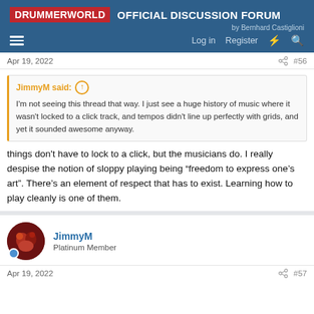DRUMMERWORLD OFFICIAL DISCUSSION FORUM by Bernhard Castiglioni
Apr 19, 2022  #56
JimmyM said: I'm not seeing this thread that way. I just see a huge history of music where it wasn't locked to a click track, and tempos didn't line up perfectly with grids, and yet it sounded awesome anyway.
things don't have to lock to a click, but the musicians do. I really despise the notion of sloppy playing being “freedom to express one’s art”. There’s an element of respect that has to exist. Learning how to play cleanly is one of them.
JimmyM
Platinum Member
Apr 19, 2022  #57